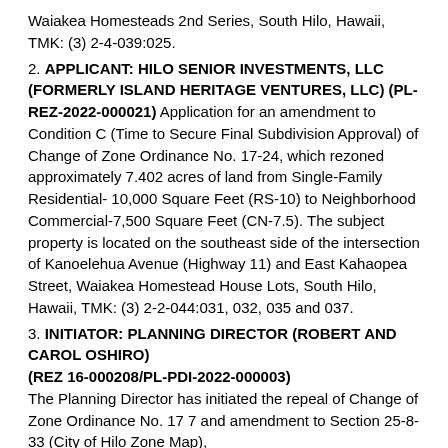Waiakea Homesteads 2nd Series, South Hilo, Hawaii, TMK: (3) 2-4-039:025.
2. APPLICANT: HILO SENIOR INVESTMENTS, LLC (FORMERLY ISLAND HERITAGE VENTURES, LLC) (PL-REZ-2022-000021) Application for an amendment to Condition C (Time to Secure Final Subdivision Approval) of Change of Zone Ordinance No. 17-24, which rezoned approximately 7.402 acres of land from Single-Family Residential- 10,000 Square Feet (RS-10) to Neighborhood Commercial-7,500 Square Feet (CN-7.5). The subject property is located on the southeast side of the intersection of Kanoelehua Avenue (Highway 11) and East Kahaopea Street, Waiakea Homestead House Lots, South Hilo, Hawaii, TMK: (3) 2-2-044:031, 032, 035 and 037.
3. INITIATOR: PLANNING DIRECTOR (ROBERT AND CAROL OSHIRO) (REZ 16-000208/PL-PDI-2022-000003) The Planning Director has initiated the repeal of Change of Zone Ordinance No. 17 7 and amendment to Section 25-8-33 (City of Hilo Zone Map), Article 8, Chapter 25 (Zoning Code), of the Hawaii County Code 1983 (2016 edition, as amended), by reverting the current zoning of the subject property from Commercial-10,000 square foot (CN-10) to its